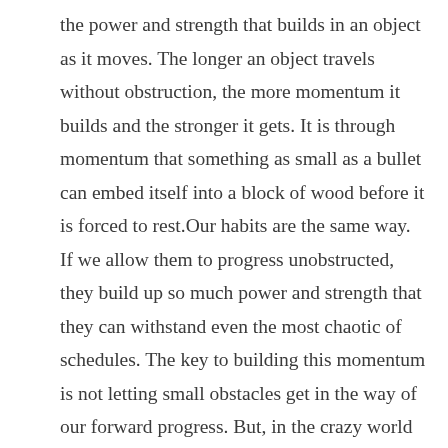the power and strength that builds in an object as it moves. The longer an object travels without obstruction, the more momentum it builds and the stronger it gets. It is through momentum that something as small as a bullet can embed itself into a block of wood before it is forced to rest.Our habits are the same way. If we allow them to progress unobstructed, they build up so much power and strength that they can withstand even the most chaotic of schedules. The key to building this momentum is not letting small obstacles get in the way of our forward progress. But, in the crazy world we live in, obstacles pop up every day and try to thwart our healthy habits. When you find yourself wondering how to keep going despite a roadblock in